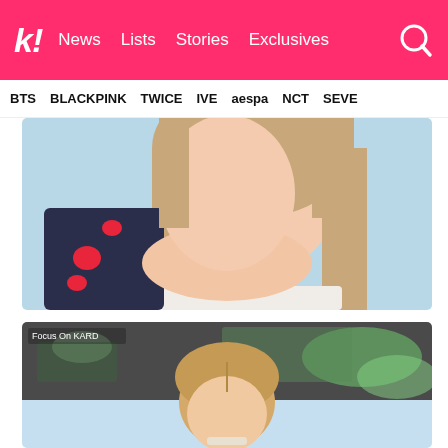k! News Lists Stories Exclusives [search]
BTS  BLACKPINK  TWICE  IVE  aespa  NCT  SEVE
[Figure (photo): Close-up of a K-pop idol with long light brown hair, wearing a white top and dark navy cardigan with red heart print, light blue background]
[Figure (photo): Focus On KARD: K-pop idol with short blonde hair, dark background with green blurred elements, light blue lower background]